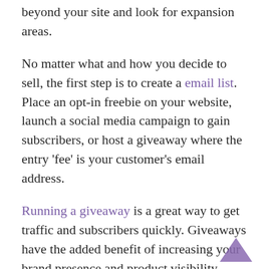beyond your site and look for expansion areas.
No matter what and how you decide to sell, the first step is to create a email list. Place an opt-in freebie on your website, launch a social media campaign to gain subscribers, or host a giveaway where the entry 'fee' is your customer's email address.
Running a giveaway is a great way to get traffic and subscribers quickly. Giveaways have the added benefit of increasing your brand presence and product visibility. Building an email list gives you a group of warm leads to work with, making the sales process much easier.
Providing consumers with coupons and content via email helps to keep your brand on their mind, boost sales, and establish